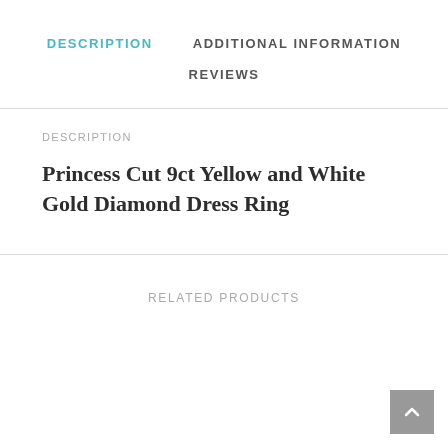DESCRIPTION
ADDITIONAL INFORMATION
REVIEWS
DESCRIPTION
Princess Cut 9ct Yellow and White Gold Diamond Dress Ring
RELATED PRODUCTS